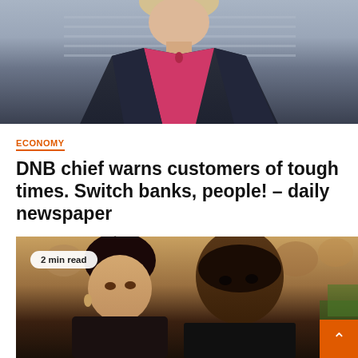[Figure (photo): Top portion of a photo showing a woman in a dark blazer with a pink/red top, cropped at the torso]
ECONOMY
DNB chief warns customers of tough times. Switch banks, people! – daily newspaper
September 6, 2022   Dalila Awolowo
[Figure (photo): Photo of two people at what appears to be a red carpet event, a woman and a man, with crowd behind them. Overlay badge reads '2 min read']